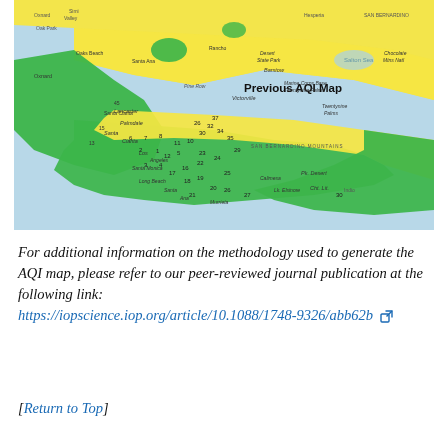[Figure (map): Previous AQI Map of the Los Angeles region showing air quality index values across different monitoring zones. The map uses yellow and green color coding, with numbered monitoring stations. A label 'Previous AQI Map' appears in bold in the upper right area of the map.]
For additional information on the methodology used to generate the AQI map, please refer to our peer-reviewed journal publication at the following link: https://iopscience.iop.org/article/10.1088/1748-9326/abb62b
[Return to Top]